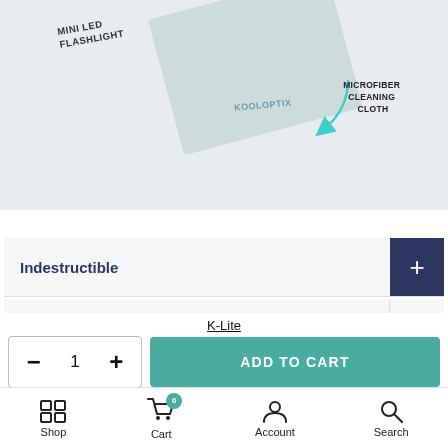[Figure (photo): Product image showing a mini LED flashlight and a microfiber cleaning cloth (KOOLOPTIX branded) on a light background, with labels pointing to each item]
Indestructible
Lens Technology
Shipping & Returns
K-Lite
ADD TO CART
Shop  Cart  Account  Search